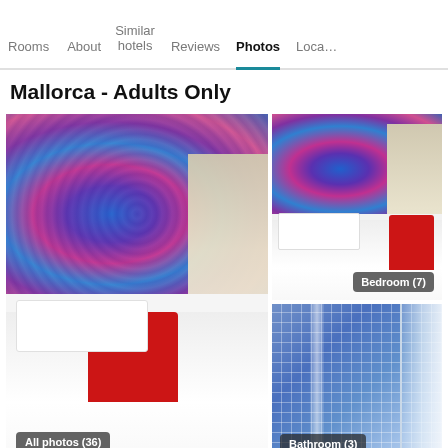Rooms | About | Similar hotels | Reviews | Photos | Loca…
Mallorca - Adults Only
[Figure (photo): Hotel bedroom with colorful mandala tapestry headboard wall, white bed, red sofa. Label: All photos (36)]
[Figure (photo): Hotel bedroom with colorful mandala tapestry headboard wall, white bed, red chair. Label: Bedroom (7)]
[Figure (photo): Hotel bathroom with blue mosaic tile wall and glass shower door. Label: Bathroom (3)]